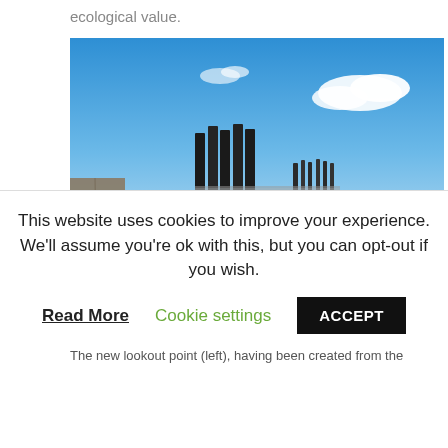ecological value.
[Figure (photo): Outdoor viewpoint/lookout point with black vertical metal pillars and a glass balustrade railing, overlooking a volcanic hillside landscape with blue ocean and sky in the background. Rocky stone wall visible on the left. Canary Islands style scenery.]
The new lookout point (left), having been created from the
This website uses cookies to improve your experience. We'll assume you're ok with this, but you can opt-out if you wish.
Read More   Cookie settings   ACCEPT